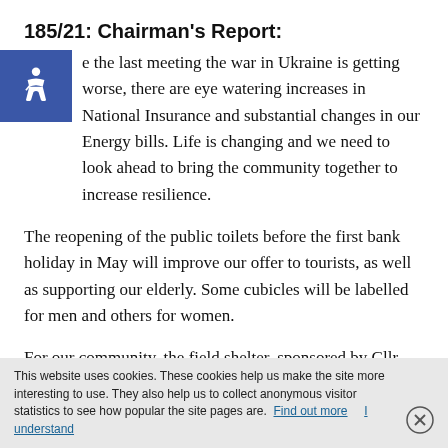185/21: Chairman's Report:
Since the last meeting the war in Ukraine is getting worse, there are eye watering increases in National Insurance and substantial changes in our Energy bills. Life is changing and we need to look ahead to bring the community together to increase resilience.
The reopening of the public toilets before the first bank holiday in May will improve our offer to tourists, as well as supporting our elderly. Some cubicles will be labelled for men and others for women.
For our community, the field shelter, sponsored by Cllr
This website uses cookies. These cookies help us make the site more interesting to use. They also help us to collect anonymous visitor statistics to see how popular the site pages are. Find out more   I understand